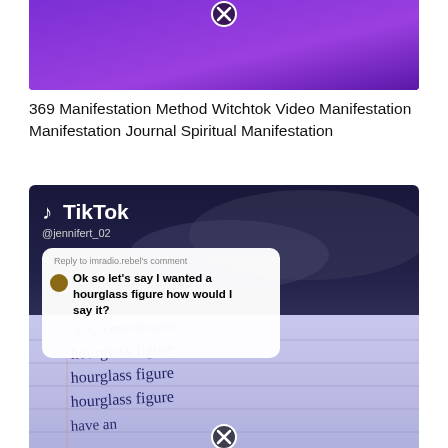[Figure (screenshot): Top portion of a TikTok video thumbnail with purple background and close (X) button overlay]
369 Manifestation Method Witchtok Video Manifestation Manifestation Journal Spiritual Manifestation
[Figure (screenshot): TikTok video screenshot from @jennifert_02 showing a comment bubble that reads 'Reply to imradio.rebel's comment — Ok so let's say I wanted a hourglass figure how would I say it?' overlaid on a notebook page with handwritten text '3, 6, 9  manifestation' and repeated 'hourglass figure' lines, with a close (X) button at the bottom.]